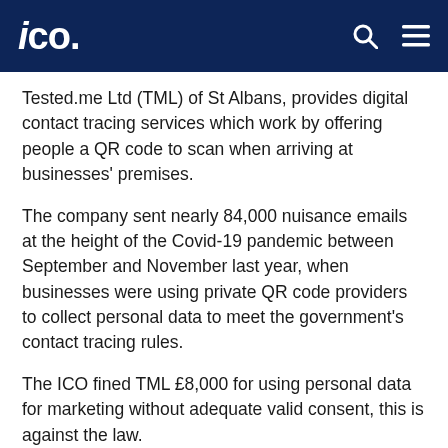ico.
Tested.me Ltd (TML) of St Albans, provides digital contact tracing services which work by offering people a QR code to scan when arriving at businesses' premises.
The company sent nearly 84,000 nuisance emails at the height of the Covid-19 pandemic between September and November last year, when businesses were using private QR code providers to collect personal data to meet the government's contact tracing rules.
The ICO fined TML £8,000 for using personal data for marketing without adequate valid consent, this is against the law.
Separate to the Tested.me investigation, the ICO responded to the rise in the use of QR code technology to help meet the rules by contacting 16 QR code providers to ensure they were also handling people's personal information properly.